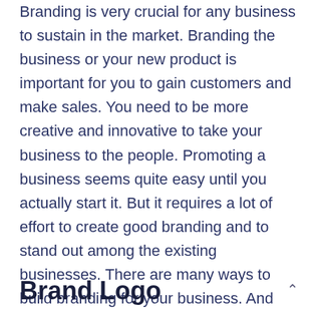Branding is very crucial for any business to sustain in the market. Branding the business or your new product is important for you to gain customers and make sales. You need to be more creative and innovative to take your business to the people. Promoting a business seems quite easy until you actually start it. But it requires a lot of effort to create good branding and to stand out among the existing businesses. There are many ways to build branding for your business. And the results completely rely on how you implement them. Below are 10 top branding materials you need if you are starting a business.
Brand Logo